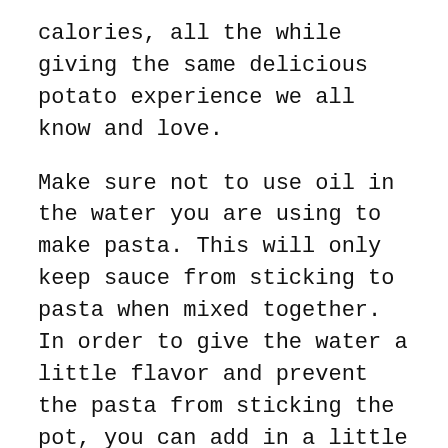calories, all the while giving the same delicious potato experience we all know and love.
Make sure not to use oil in the water you are using to make pasta. This will only keep sauce from sticking to pasta when mixed together. In order to give the water a little flavor and prevent the pasta from sticking the pot, you can add in a little bit of salt.
You need to store your flour in a waterproof container. If flour gets wet, it becomes a huge mess and cannot be used for cooking. There